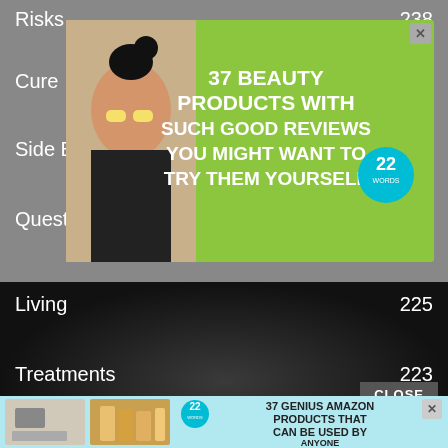Risks  238
Cure  233
Side Effects  227
Questions  225
Living  225
Treatments  223
[Figure (infographic): Green advertisement banner: 37 Beauty Products With Such Good Reviews You Might Want To Try Them Yourself, with 22 Words badge and woman photo]
[Figure (logo): Parkinson Info Club logo with hexagon icon and red text]
[Figure (infographic): Light blue advertisement banner: 37 Genius Amazon Products That Can Be Used By Anyone, with 22 Words badge and product images]